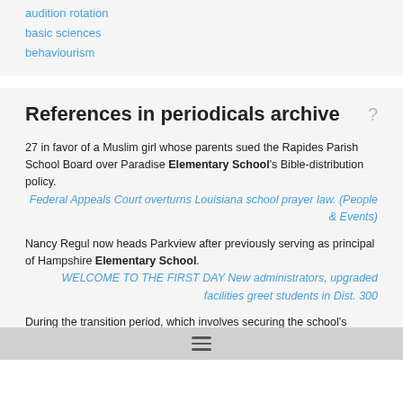audition rotation
basic sciences
behaviourism
References in periodicals archive
27 in favor of a Muslim girl whose parents sued the Rapides Parish School Board over Paradise Elementary School's Bible-distribution policy.
Federal Appeals Court overturns Louisiana school prayer law. (People & Events)
Nancy Regul now heads Parkview after previously serving as principal of Hampshire Elementary School.
WELCOME TO THE FIRST DAY New administrators, upgraded facilities greet students in Dist. 300
During the transition period, which involves securing the school's identification number from the DepEd, West Crame Elementary School